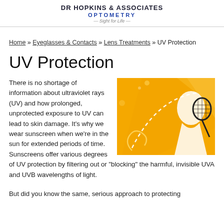DR HOPKINS & ASSOCIATES OPTOMETRY — Sight for Life —
Home » Eyeglasses & Contacts » Lens Treatments » UV Protection
UV Protection
[Figure (illustration): Orange-toned illustration of a person's silhouette outdoors with sun rays and tennis racket motif]
There is no shortage of information about ultraviolet rays (UV) and how prolonged, unprotected exposure to UV can lead to skin damage. It's why we wear sunscreen when we're in the sun for extended periods of time. Sunscreens offer various degrees of UV protection by filtering out or "blocking" the harmful, invisible UVA and UVB wavelengths of light.
But did you know the same, serious approach to protecting